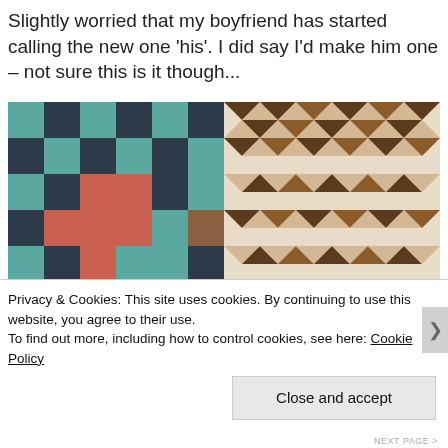Slightly worried that my boyfriend has started calling the new one 'his'. I did say I'd make him one – not sure this is it though...
[Figure (photo): Close-up photo of two quilts side by side. The left quilt has a plus/cross pattern in teal, navy, brown, and coral/pink fabrics. The right quilt has a pinwheel/star pattern in brown, cream, and tan fabrics.]
Privacy & Cookies: This site uses cookies. By continuing to use this website, you agree to their use.
To find out more, including how to control cookies, see here: Cookie Policy
Close and accept